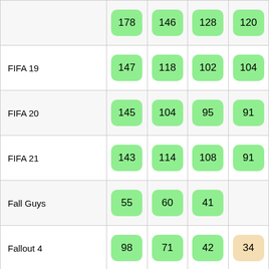| Game | Col1 | Col2 | Col3 | Col4 |
| --- | --- | --- | --- | --- |
|  | 178 | 146 | 128 | 120 |
| FIFA 19 | 147 | 118 | 102 | 104 |
| FIFA 20 | 145 | 104 | 95 | 91 |
| FIFA 21 | 143 | 114 | 108 | 91 |
| Fall Guys | 55 | 60 | 41 |  |
| Fallout 4 | 98 | 71 | 42 | 34 |
| Fallout 76 | 48 | 37 | 36 | 36 |
| Far Cry 3 | 119 | 106 | 80 | 36 |